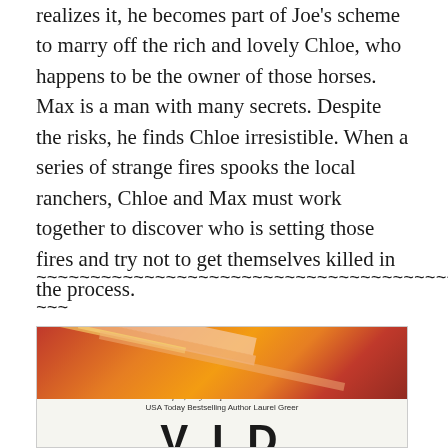realizes it, he becomes part of Joe's scheme to marry off the rich and lovely Chloe, who happens to be the owner of those horses. Max is a man with many secrets. Despite the risks, he finds Chloe irresistible. When a series of strange fires spooks the local ranchers, Chloe and Max must work together to discover who is setting those fires and try not to get themselves killed in the process.
~~~~~~~~~~~~~~~~~~~~~~~~~~~~~~~~~~~~~~~~~~~
~~~
[Figure (photo): Book cover showing abstract diagonal stripes in red, orange, and yellow tones on the top half, with a white bottom half containing an italic blurb quote 'A fun, sexy romp in the woods...' attributed to USA Today Bestselling Author Laurel Greer, and large bold title letters 'VID' visible at the bottom.]